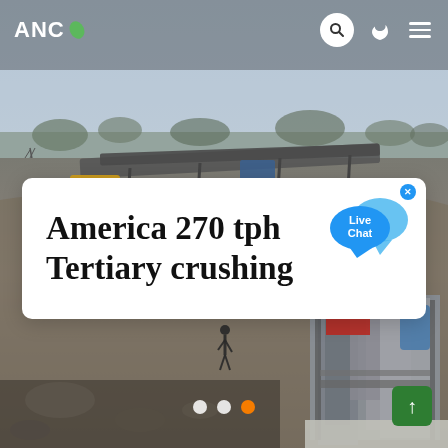[Figure (photo): Aerial/drone view of a mining and crushing operation site with conveyor belts, heavy equipment, and a crushing plant structure visible. Hazy sky with bare trees in background. A worker is visible walking in the mid-ground.]
ANC
America 270 tph Tertiary crushing